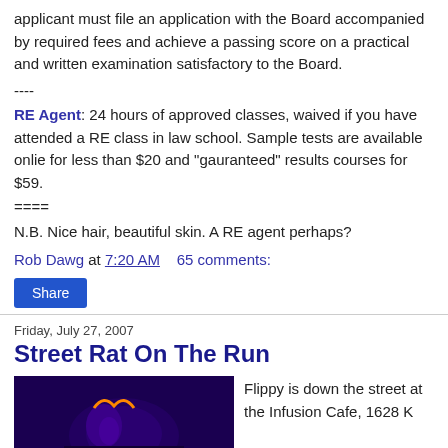applicant must file an application with the Board accompanied by required fees and achieve a passing score on a practical and written examination satisfactory to the Board.
----
RE Agent: 24 hours of approved classes, waived if you have attended a RE class in law school. Sample tests are available onlie for less than $20 and "gauranteed" results courses for $59.
====
N.B. Nice hair, beautiful skin. A RE agent perhaps?
Rob Dawg at 7:20 AM   65 comments:
Share
Friday, July 27, 2007
Street Rat On The Run
Flippy is down the street at the Infusion Cafe, 1628 K